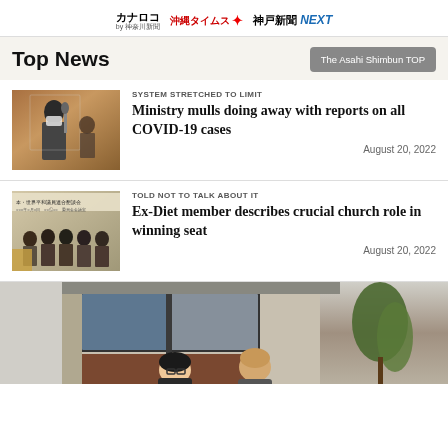カナロコ by神奈川新聞 / 沖縄タイムス / 神戸新聞NEXT
Top News
The Asahi Shimbun TOP
[Figure (photo): Person speaking at microphone in parliamentary setting]
SYSTEM STRETCHED TO LIMIT
Ministry mulls doing away with reports on all COVID-19 cases
August 20, 2022
[Figure (photo): Group of men in suits at a meeting or event]
TOLD NOT TO TALK ABOUT IT
Ex-Diet member describes crucial church role in winning seat
August 20, 2022
[Figure (photo): Two people smiling in front of a building exterior]